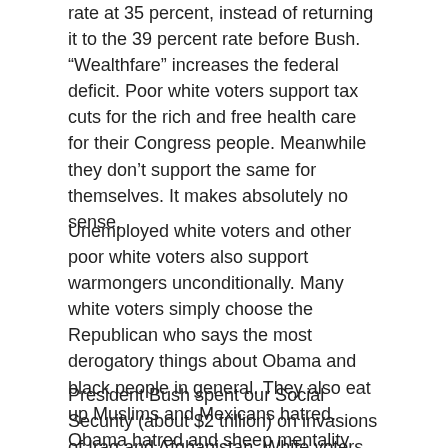rate at 35 percent, instead of returning it to the 39 percent rate before Bush. “Wealthfare” increases the federal deficit. Poor white voters support tax cuts for the rich and free health care for their Congress people. Meanwhile they don’t support the same for themselves. It makes absolutely no sense.
Unemployed white voters and other poor white voters also support warmongers unconditionally. Many white voters simply choose the Republican who says the most derogatory things about Obama and black people in general. They also eat up Muslims and Mexicans hatred. Obama hatred and sheep mentality leads to another corporate warmonger in the White House. That does none of us any good.
President Bush spent our Social Security (about $2 trillion) on invasions of Iraq and Afghanistan. White voters must hold their Congressional representatives accountable.